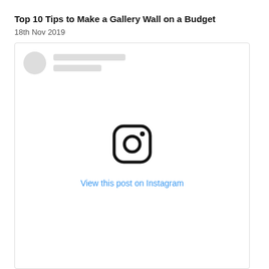Top 10 Tips to Make a Gallery Wall on a Budget
18th Nov 2019
[Figure (screenshot): Instagram embed placeholder showing avatar circle, placeholder text lines, Instagram camera icon in the center, and a blue 'View this post on Instagram' link.]